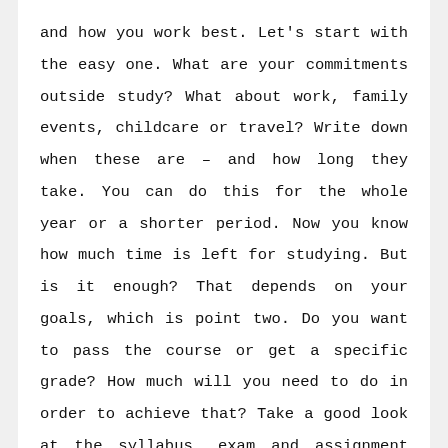and how you work best. Let's start with the easy one. What are your commitments outside study? What about work, family events, childcare or travel? Write down when these are – and how long they take. You can do this for the whole year or a shorter period. Now you know how much time is left for studying. But is it enough? That depends on your goals, which is point two. Do you want to pass the course or get a specific grade? How much will you need to do in order to achieve that? Take a good look at the syllabus, exam and assignment timetables, and old exam papers to find out how much you need to do. Sometimes, you need to look at short-term goals. For example: this week, today,